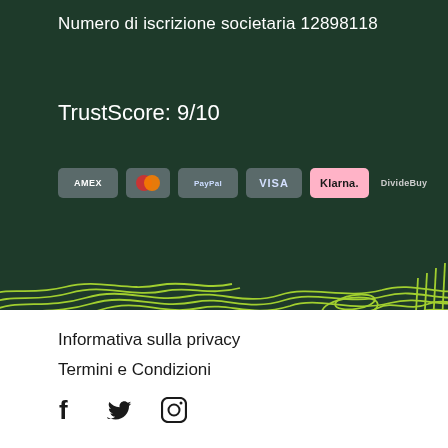Numero di iscrizione societaria 12898118
TrustScore: 9/10
[Figure (logo): Payment method logos: AMEX, Mastercard, PayPal, VISA, Klarna, DivideBuy]
[Figure (illustration): Decorative topographic contour line pattern in lime/neon green on dark green background]
Informativa sulla privacy
Termini e Condizioni
[Figure (illustration): Social media icons: Facebook (f), Twitter (bird), Instagram (camera)]